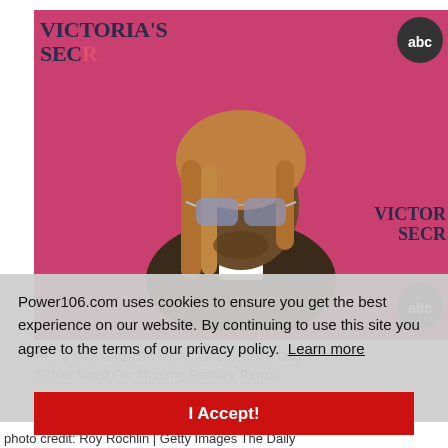[Figure (photo): A man with dreadlocks and aviator sunglasses posing in front of a Victoria's Secret branded pink background with ABC logos in corners.]
Power106.com uses cookies to ensure you get the best experience on our website. By continuing to use this site you agree to the terms of our privacy policy. Learn more
I Accept!
Fl... e Man Gives Stylist W... $48K Birk n Bag + Offset Sued For Missing Bentley Rental
photo credit: Roy Rochlin | Getty Images The Daily